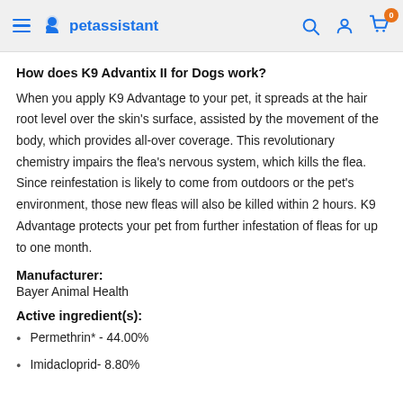petassistant
How does K9 Advantix II for Dogs work?
When you apply K9 Advantage to your pet, it spreads at the hair root level over the skin's surface, assisted by the movement of the body, which provides all-over coverage. This revolutionary chemistry impairs the flea's nervous system, which kills the flea. Since reinfestation is likely to come from outdoors or the pet's environment, those new fleas will also be killed within 2 hours. K9 Advantage protects your pet from further infestation of fleas for up to one month.
Manufacturer:
Bayer Animal Health
Active ingredient(s):
Permethrin* - 44.00%
Imidacloprid- 8.80%